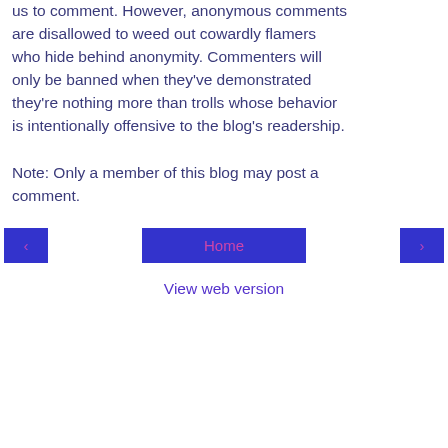us to comment. However, anonymous comments are disallowed to weed out cowardly flamers who hide behind anonymity. Commenters will only be banned when they've demonstrated they're nothing more than trolls whose behavior is intentionally offensive to the blog's readership.
Note: Only a member of this blog may post a comment.
‹
Home
›
View web version